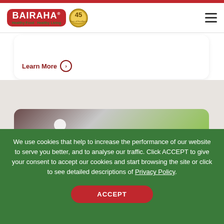[Figure (logo): Bairaha logo with red pill shape, white text, tagline 'Healthy Food Healthy Living', and 45 years of excellence gold badge]
Learn More
[Figure (photo): Blurred food photo with white flower and green/brown tones]
We use cookies that help to increase the performance of our website to serve you better, and to analyse our traffic. Click ACCEPT to give your consent to accept our cookies and start browsing the site or click to see detailed descriptions of Privacy Policy.
ACCEPT